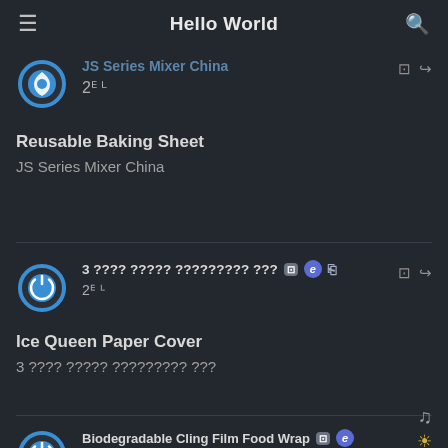Hello World
JS Series Mixer China | 20 口
Reusable Baking Sheet
JS Series Mixer China
3 ???? ????? ????????? ??? | 20 口 | Ice Queen Paper Cover | 3 ???? ????? ????????? ???
Ice Queen Paper Cover
3 ???? ????? ????????? ???
Biodegradable Cling Film Food Wrap | 30 口
Mixing Host Mixing Host